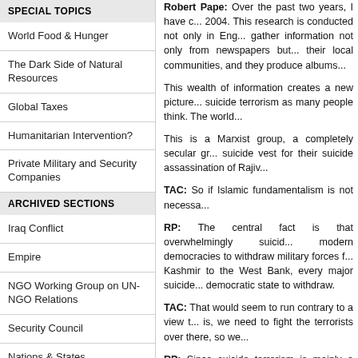SPECIAL TOPICS
World Food & Hunger
The Dark Side of Natural Resources
Global Taxes
Humanitarian Intervention?
Private Military and Security Companies
ARCHIVED SECTIONS
Iraq Conflict
Empire
NGO Working Group on UN-NGO Relations
Security Council
Nations & States
MORE FROM GPF
Robert Pape: Over the past two years, I have c... 2004. This research is conducted not only in Eng... gather information not only from newspapers but... their local communities, and they produce albums...
This wealth of information creates a new picture... suicide terrorism as many people think. The worl...
This is a Marxist group, a completely secular gr... suicide vest for their suicide assassination of Rajiv...
TAC: So if Islamic fundamentalism is not necessa...
RP: The central fact is that overwhelmingly suicid... modern democracies to withdraw military forces f... Kashmir to the West Bank, every major suicide... democratic state to withdraw.
TAC: That would seem to run contrary to a view t... is, we need to fight the terrorists over there, so we...
RP: Since suicide terrorism is mainly a response f... societies over there, if you would, is only likely to i...
Since 1990, the United States has stationed tens... Osama bin Laden and al-Qaeda. People who ma... terrorism is not a supply-limited phenomenon whe... demand-driven phenomenon. That is, it is driven b... in Iraq has stimulated suicide terrorism and has gi...
TAC: If we create democracy in the Middle East for...